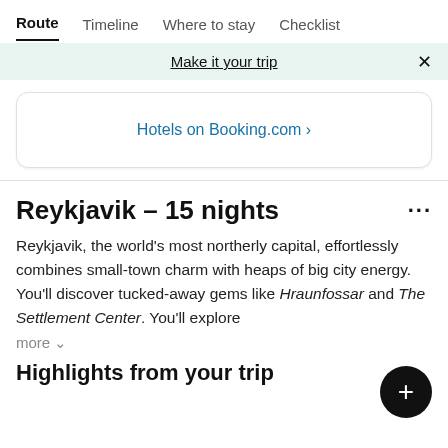Route  Timeline  Where to stay  Checklist
Make it your trip
Hotels on Booking.com ›
Reykjavik – 15 nights
Reykjavik, the world's most northerly capital, effortlessly combines small-town charm with heaps of big city energy. You'll discover tucked-away gems like Hraunfossar and The Settlement Center. You'll explore
more ˅
Highlights from your trip